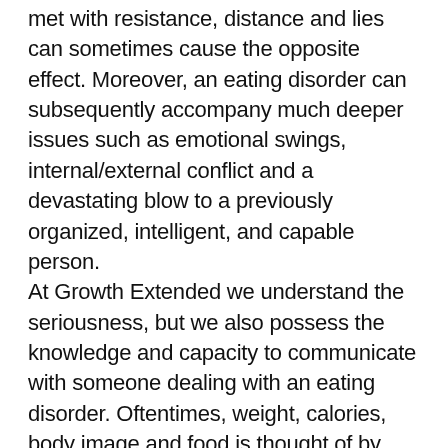met with resistance, distance and lies can sometimes cause the opposite effect. Moreover, an eating disorder can subsequently accompany much deeper issues such as emotional swings, internal/external conflict and a devastating blow to a previously organized, intelligent, and capable person. At Growth Extended we understand the seriousness, but we also possess the knowledge and capacity to communicate with someone dealing with an eating disorder. Oftentimes, weight, calories, body image and food is thought of by someone struggling with an eating disorder almost on a constant bases. There is a unique level of insight that accompanies Growth Extended staff as we treat persons with eating disorders. This insight is attributable to our years of extensive training and years of experience working with eating disorders. Persons with eating disorders suffer often times in silence, isolation and,